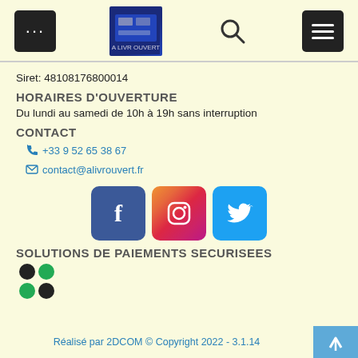Navigation header with menu, logo, search, and menu icons
Siret: 48108176800014
HORAIRES D'OUVERTURE
Du lundi au samedi de 10h à 19h sans interruption
CONTACT
+33 9 52 65 38 67
contact@alivrouvert.fr
[Figure (other): Social media buttons: Facebook, Instagram, Twitter]
SOLUTIONS DE PAIEMENTS SECURISEES
[Figure (other): Payment solution dots logo (4 colored circles)]
Réalisé par 2DCOM © Copyright 2022 - 3.1.14